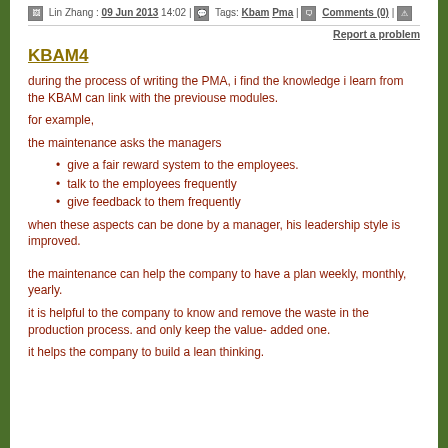Lin Zhang : 09 Jun 2013 14:02 | Tags: Kbam Pma | Comments (0) |
Report a problem
KBAM4
during the process of writing the PMA, i find the knowledge i learn from the KBAM can link with the previouse modules.
for example,
the maintenance asks the managers
give a fair reward system to the employees.
talk to the employees frequently
give feedback to them frequently
when these aspects can be done by a manager, his leadership style is improved.
the maintenance can help the company to have a plan weekly, monthly, yearly.
it is helpful to the company to know and remove the waste in the production process. and only keep the value- added one.
it helps the company to build a lean thinking.